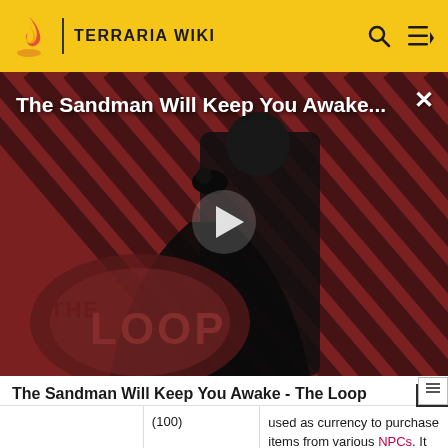TERRARIA WIKI
[Figure (screenshot): Video overlay showing 'The Sandman Will Keep You Awake...' title with a figure in black cloak against a red and black diagonal striped background, with a play button in the center and 'THE LOOP' logo at the bottom left.]
The Sandman Will Keep You Awake - The Loop
(100)
used as currency to purchase items from various NPCs. It does not need to be crafted as